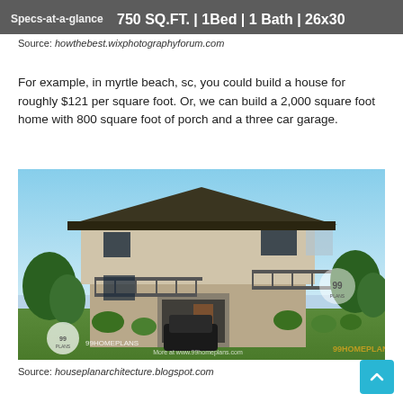[Figure (screenshot): Banner image showing specs-at-a-glance text: 750 SQ.FT. | 1Bed | 1 Bath | 26x30]
Source: howthebest.wixphotographyforum.com
For example, in myrtle beach, sc, you could build a house for roughly $121 per square foot. Or, we can build a 2,000 square foot home with 800 square foot of porch and a three car garage.
[Figure (photo): Photo of a two-story modern house with dark roof, white and tan exterior, balcony with metal railings, car parked in garage, surrounded by green trees and shrubs. Watermark: 99HOMEPLANS]
Source: houseplanarchitecture.blogspot.com